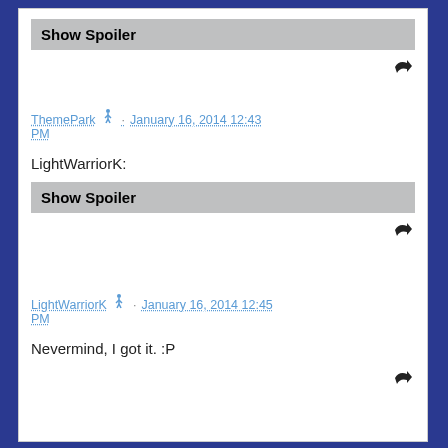[Figure (other): Show Spoiler button (gray background with bold text)]
[Figure (other): Reply arrow icon (dark, top right of first post)]
ThemePark 🏃 · January 16, 2014 12:43 PM
LightWarriorK:
[Figure (other): Show Spoiler button (gray background with bold text)]
[Figure (other): Reply arrow icon (dark, top right of second post)]
LightWarriorK 🏃 · January 16, 2014 12:45 PM
Nevermind, I got it. :P
[Figure (other): Reply arrow icon (dark, bottom right of third post)]